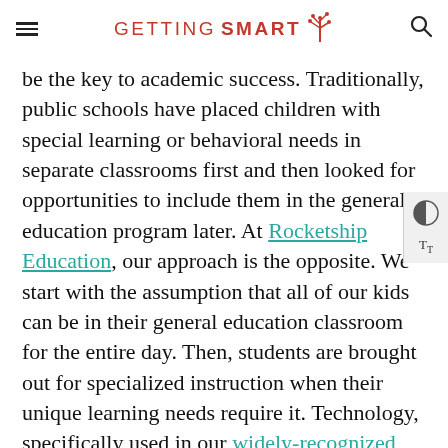GETTING SMART
be the key to academic success. Traditionally, public schools have placed children with special learning or behavioral needs in separate classrooms first and then looked for opportunities to include them in the general education program later. At Rocketship Education, our approach is the opposite. We start with the assumption that all of our kids can be in their general education classroom for the entire day. Then, students are brought out for specialized instruction when their unique learning needs require it. Technology, specifically used in our widely-recognized blended learning model, helps make this possible. Read more about their individualized approach...